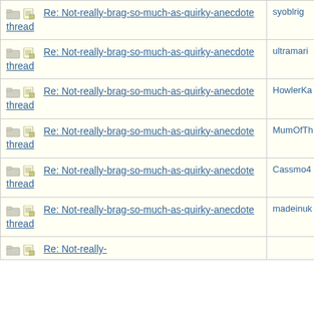| Topic | User |
| --- | --- |
| Re: Not-really-brag-so-much-as-quirky-anecdote thread | syoblrig |
| Re: Not-really-brag-so-much-as-quirky-anecdote thread | ultramari |
| Re: Not-really-brag-so-much-as-quirky-anecdote thread | HowlerKa |
| Re: Not-really-brag-so-much-as-quirky-anecdote thread | MumOfTh |
| Re: Not-really-brag-so-much-as-quirky-anecdote thread | Cassmo4 |
| Re: Not-really-brag-so-much-as-quirky-anecdote thread | madeinuk |
| Re: Not-really- |  |